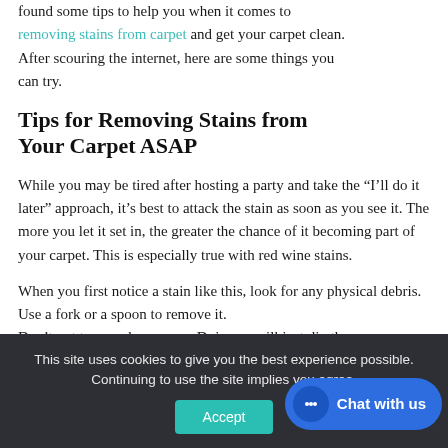found some tips to help you when it comes to removing stains from carpet and get your carpet clean. After scouring the internet, here are some things you can try.
Tips for Removing Stains from Your Carpet ASAP
While you may be tired after hosting a party and take the “I’ll do it later” approach, it’s best to attack the stain as soon as you see it. The more you let it set in, the greater the chance of it becoming part of your carpet. This is especially true with red wine stains.
When you first notice a stain like this, look for any physical debris. Use a fork or a spoon to remove it. Don’t put too much pressure. Doing so will just dig the
This site uses cookies to give you the best experience possible. Continuing to use the site implies you agree.